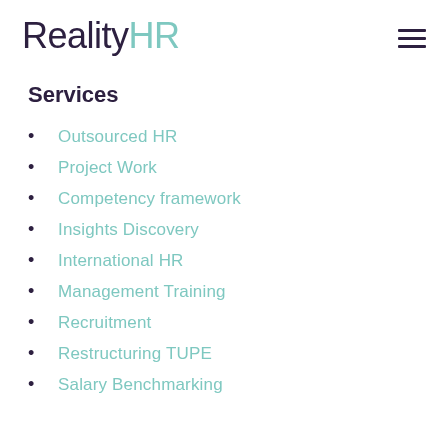RealityHR
Services
Outsourced HR
Project Work
Competency framework
Insights Discovery
International HR
Management Training
Recruitment
Restructuring TUPE
Salary Benchmarking